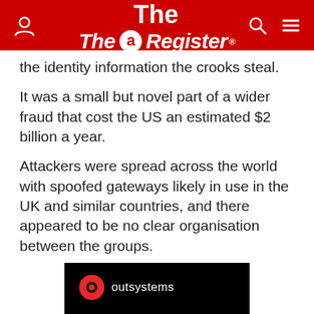The Register
the identity information the crooks steal.
It was a small but novel part of a wider fraud that cost the US an estimated $2 billion a year.
Attackers were spread across the world with spoofed gateways likely in use in the UK and similar countries, and there appeared to be no clear organisation between the groups.
[Figure (logo): OutSystems advertisement banner with red circle logo, text 'outsystems', and bold white headline 'Cloud-Native Development' on black background]